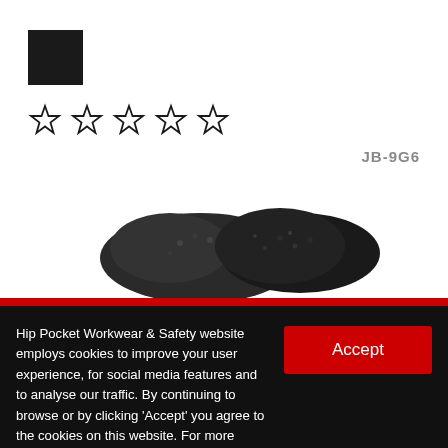[Figure (logo): Black filled square logo/icon]
[Figure (other): Five empty star rating icons in a row]
JB-9G6
[Figure (photo): Product photo showing dark-colored workwear boots or safety shoes, partially visible at the bottom of the page]
Hip Pocket Workwear & Safety website employs cookies to improve your user experience, for social media features and to analyse our traffic. By continuing to browse or by clicking 'Accept' you agree to the cookies on this website. For more information, please read our Privacy Policy.
Accept